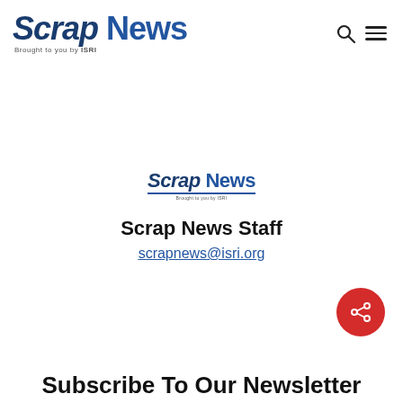[Figure (logo): Scrap News logo with 'Brought to you by ISRI' subtitle, large header version]
[Figure (logo): Scrap News logo smaller centered version with underline]
Scrap News Staff
scrapnews@isri.org
[Figure (other): Red circular share button with share icon]
Subscribe To Our Newsletter